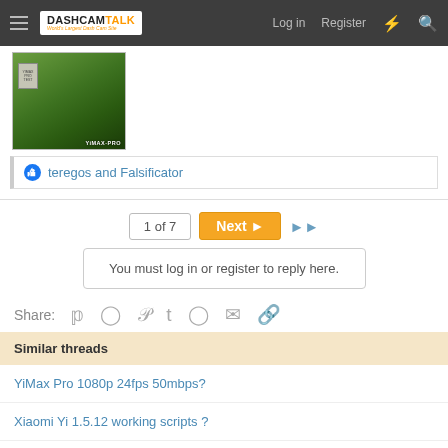DASHCAMTALK — Log in  Register
[Figure (photo): Outdoor dashcam photo showing trees and a road sign with YiMAX-PRO watermark]
teregos and Falsificator
1 of 7  Next  ▶▶
You must log in or register to reply here.
Share:
Similar threads
YiMax Pro 1080p 24fps 50mbps?
Xiaomi Yi 1.5.12 working scripts ?